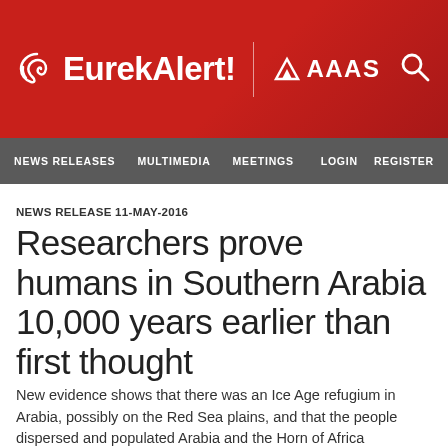EurekAlert! AAAS
NEWS RELEASES | MULTIMEDIA | MEETINGS | LOGIN | REGISTER
NEWS RELEASE 11-MAY-2016
Researchers prove humans in Southern Arabia 10,000 years earlier than first thought
New evidence shows that there was an Ice Age refugium in Arabia, possibly on the Red Sea plains, and that the people dispersed and populated Arabia and the Horn of Africa